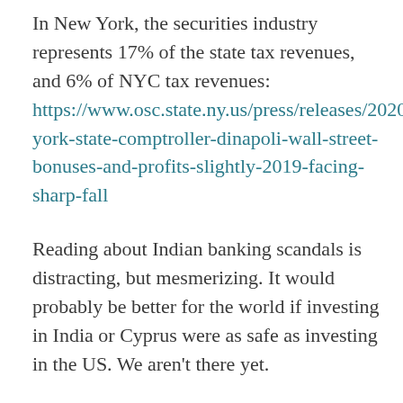In New York, the securities industry represents 17% of the state tax revenues, and 6% of NYC tax revenues: https://www.osc.state.ny.us/press/releases/2020/03/new-york-state-comptroller-dinapoli-wall-street-bonuses-and-profits-slightly-2019-facing-sharp-fall
Reading about Indian banking scandals is distracting, but mesmerizing. It would probably be better for the world if investing in India or Cyprus were as safe as investing in the US. We aren't there yet.
In terms of taxes, businesses appreciate the quality of life and better workers...